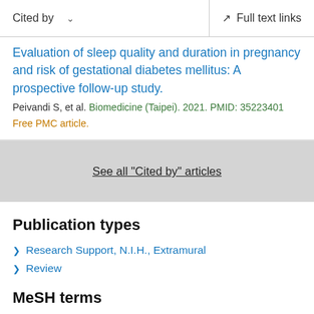Cited by  ∨    Full text links
Evaluation of sleep quality and duration in pregnancy and risk of gestational diabetes mellitus: A prospective follow-up study.
Peivandi S, et al. Biomedicine (Taipei). 2021. PMID: 35223401
Free PMC article.
See all "Cited by" articles
Publication types
Research Support, N.I.H., Extramural
Review
MeSH terms